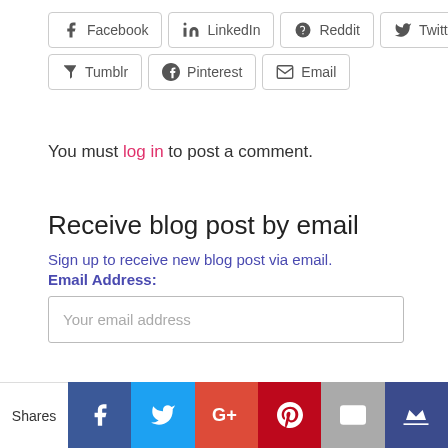[Figure (other): Social share buttons row 1: Facebook, LinkedIn, Reddit, Twitter]
[Figure (other): Social share buttons row 2: Tumblr, Pinterest, Email]
You must log in to post a comment.
Receive blog post by email
Sign up to receive new blog post via email.
Email Address:
[Figure (other): Email input field with placeholder 'Your email address']
[Figure (other): Bottom social share bar: Shares label, Facebook, Twitter, Google+, Pinterest, Email, Crown icon buttons]